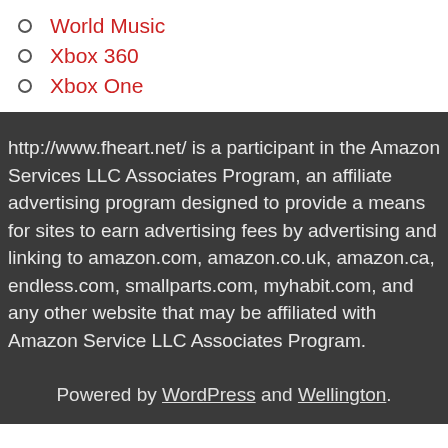World Music
Xbox 360
Xbox One
http://www.fheart.net/ is a participant in the Amazon Services LLC Associates Program, an affiliate advertising program designed to provide a means for sites to earn advertising fees by advertising and linking to amazon.com, amazon.co.uk, amazon.ca, endless.com, smallparts.com, myhabit.com, and any other website that may be affiliated with Amazon Service LLC Associates Program.
Powered by WordPress and Wellington.